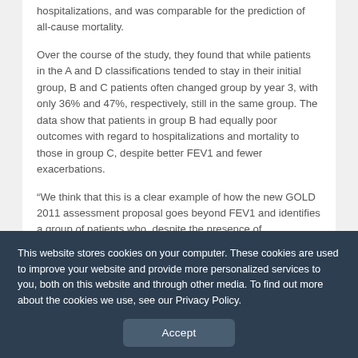hospitalizations, and was comparable for the prediction of all-cause mortality.
Over the course of the study, they found that while patients in the A and D classifications tended to stay in their initial group, B and C patients often changed group by year 3, with only 36% and 47%, respectively, still in the same group. The data show that patients in group B had equally poor outcomes with regard to hospitalizations and mortality to those in group C, despite better FEV1 and fewer exacerbations.
“We think that this is a clear example of how the new GOLD 2011 assessment proposal goes beyond FEV1 and identifies a group of patients who, despite the presence of
This website stores cookies on your computer. These cookies are used to improve your website and provide more personalized services to you, both on this website and through other media. To find out more about the cookies we use, see our Privacy Policy.